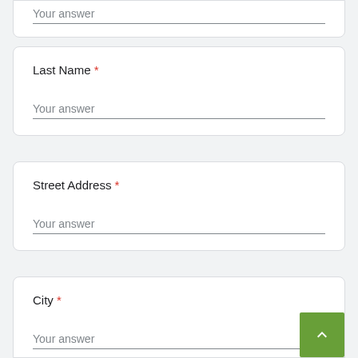Your answer
Last Name *
Your answer
Street Address *
Your answer
City *
Your answer